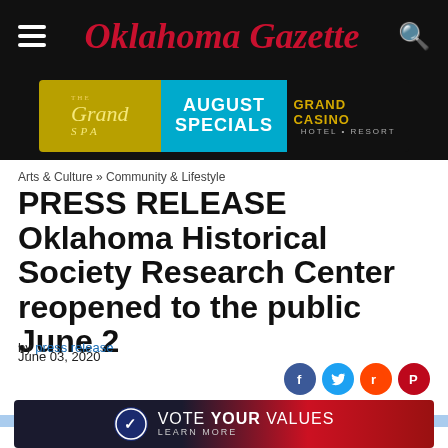Oklahoma Gazette
[Figure (infographic): The Grand SPA August Specials Grand Casino Hotel & Resort advertisement banner]
Arts & Culture » Community & Lifestyle
PRESS RELEASE Oklahoma Historical Society Research Center reopened to the public June 2
by press release
June 03, 2020
[Figure (infographic): Social sharing icons: Facebook, Twitter, Reddit, Pinterest and comment dropdown]
[Figure (infographic): Vote Your Values Learn More advertisement banner]